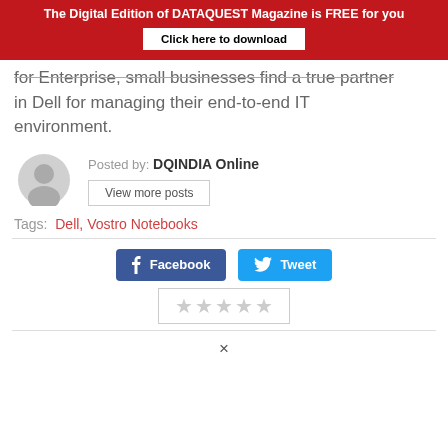The Digital Edition of DATAQUEST Magazine is FREE for you
Click here to download
for Enterprise, small businesses find a true partner in Dell for managing their end-to-end IT environment.
Posted by: DQINDIA Online
View more posts
Tags: Dell, Vostro Notebooks
Facebook  Tweet
★★★★★
×